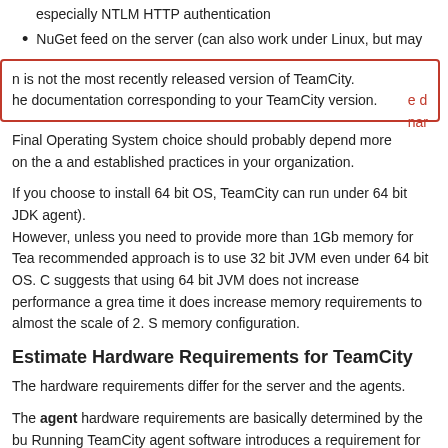especially NTLM HTTP authentication
NuGet feed on the server (can also work under Linux, but may
n is not the most recently released version of TeamCity.
he documentation corresponding to your TeamCity version.
Final Operating System choice should probably depend more on the a and established practices in your organization.
If you choose to install 64 bit OS, TeamCity can run under 64 bit JDK agent).
However, unless you need to provide more than 1Gb memory for Tea recommended approach is to use 32 bit JVM even under 64 bit OS. C suggests that using 64 bit JVM does not increase performance a grea time it does increase memory requirements to almost the scale of 2. S memory configuration.
Estimate Hardware Requirements for TeamCity
The hardware requirements differ for the server and the agents.
The agent hardware requirements are basically determined by the bu Running TeamCity agent software introduces a requirement for additi